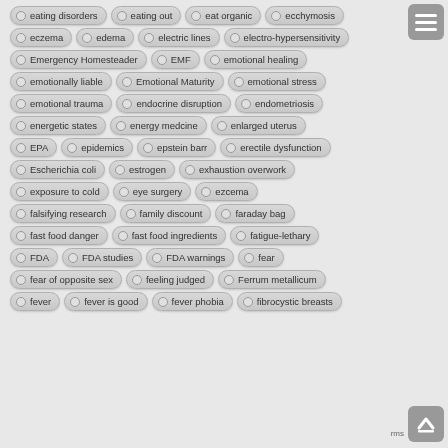eating disorders
eating out
eat organic
ecchymosis
eczema
edema
electric lines
electro-hypersensitivity
Emergency Homesteader
EMF
emotional healing
emotionally liable
Emotional Maturity
emotional stress
emotional trauma
endocrine disruption
endometriosis
energetic states
energy medcine
enlarged uterus
EPA
epidemics
epstein barr
erectile dysfunction
Escherichia coli
estrogen
exhaustion overwork
exposure to cold
eye surgery
ezcema
falsifying research
family discount
faraday bag
fast food danger
fast food ingredients
fatigue-lethary
FDA
FDA studies
FDA warnings
fear
fear of opposite sex
feeling judged
Ferrum metallicum
fever
fever is good
fever phobia
fibrocystic breasts